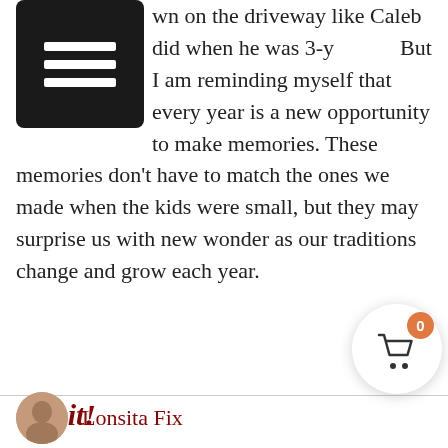u[menu icon]wn on the driveway like Caleb did when he was 3-y[menu icon] But I am reminding myself that every year is a new opportunity to make memories. These memories don't have to match the ones we made when the kids were small, but they may surprise us with new wonder as our traditions change and grow each year.
Try it!
Pick 1-3 Christmas traditions that you normally plan, organize, and lead and delegate it to a family member instead. Enjoy how they make it their own, and celebrate how your traditions can become new again as your kids get older.
[Figure (other): Shopping cart button with orange badge showing 0]
Lonsita Fix